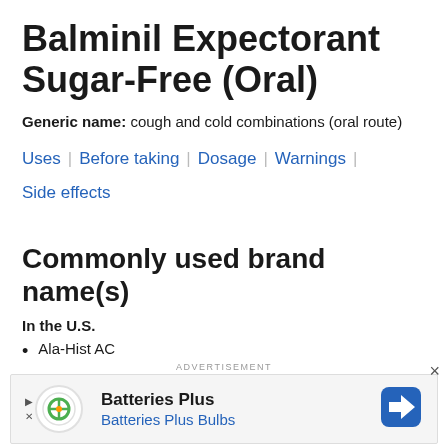Balminil Expectorant Sugar-Free (Oral)
Generic name: cough and cold combinations (oral route)
Uses | Before taking | Dosage | Warnings | Side effects
Commonly used brand name(s)
In the U.S.
Ala-Hist AC
[Figure (other): Advertisement banner for Batteries Plus / Batteries Plus Bulbs with logo and navigation arrow icon]